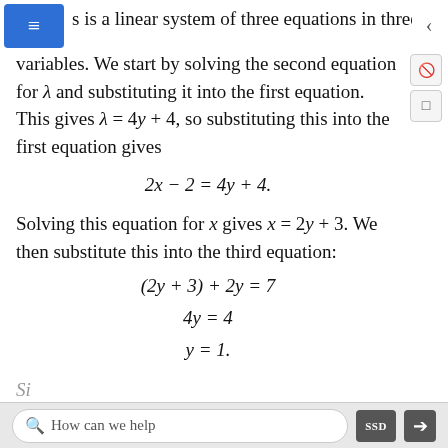s is a linear system of three equations in three variables.
We start by solving the second equation for λ and substituting it into the first equation. This gives λ = 4y + 4, so substituting this into the first equation gives
Solving this equation for x gives x = 2y + 3. We then substitute this into the third equation:
How can we help